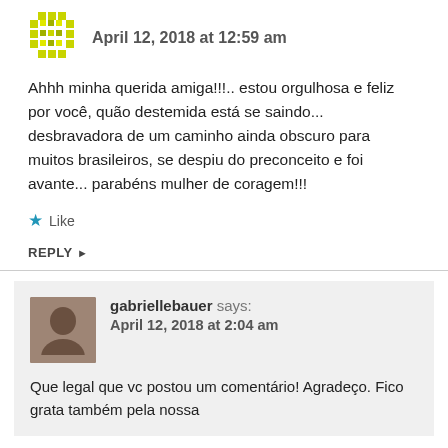April 12, 2018 at 12:59 am
Ahhh minha querida amiga!!!.. estou orgulhosa e feliz por você, quão destemida está se saindo... desbravadora de um caminho ainda obscuro para muitos brasileiros, se despiu do preconceito e foi avante... parabéns mulher de coragem!!!
Like
REPLY
gabriellebauer says:
April 12, 2018 at 2:04 am
Que legal que vc postou um comentário! Agradeço. Fico grata também pela nossa